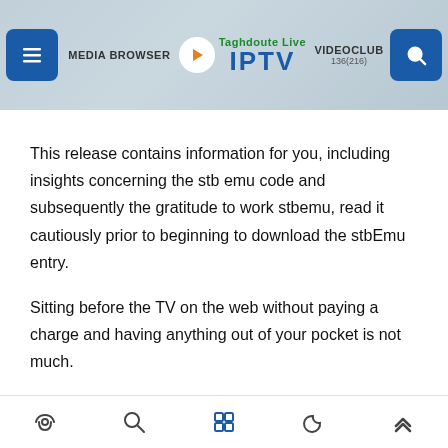[Figure (screenshot): App header with navigation bar showing menu icon, MEDIA BROWSER text, Taghdoute Live IPTV logo with play button, VIDEOCLUB text, and search icon on a light blue-gray background]
This release contains information for you, including insights concerning the stb emu code and subsequently the gratitude to work stbemu, read it cautiously prior to beginning to download the stbEmu entry.
Sitting before the TV on the web without paying a charge and having anything out of your pocket is not much.
You don't get an event to pay to pick TV channels.
[Figure (screenshot): Bottom navigation bar with home, search, grid/apps, moon/dark mode, and up arrow icons]